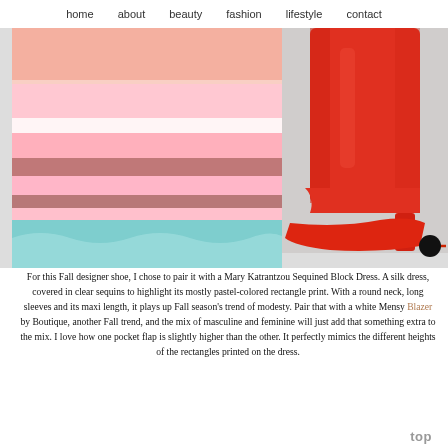home   about   beauty   fashion   lifestyle   contact
[Figure (photo): Fashion photo collage: left side shows a Mary Katrantzou sequined block dress with colorful horizontal stripe bands in pink, white, coral, mauve and teal/mint at hem; right side shows a red leather over-the-knee pointed-toe high-heel boot on gray background. A black circle with red line slider indicator appears at the right edge.]
For this Fall designer shoe, I chose to pair it with a Mary Katrantzou Sequined Block Dress. A silk dress, covered in clear sequins to highlight its mostly pastel-colored rectangle print. With a round neck, long sleeves and its maxi length, it plays up Fall season's trend of modesty. Pair that with a white Mensy Blazer by Boutique, another Fall trend, and the mix of masculine and feminine will just add that something extra to the mix. I love how one pocket flap is slightly higher than the other. It perfectly mimics the different heights of the rectangles printed on the dress.